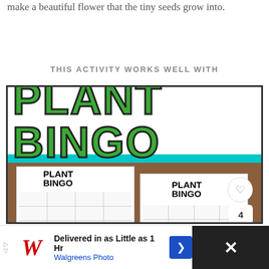make a beautiful flower that the tiny seeds grow into.
THIS ACTIVITY WORKS WELL WITH
[Figure (illustration): Plant Bingo activity product image showing bingo cards with plant-themed illustrations and the text PLANT BINGO in large green letters]
Delivered in as Little as 1 Hr
Walgreens Photo